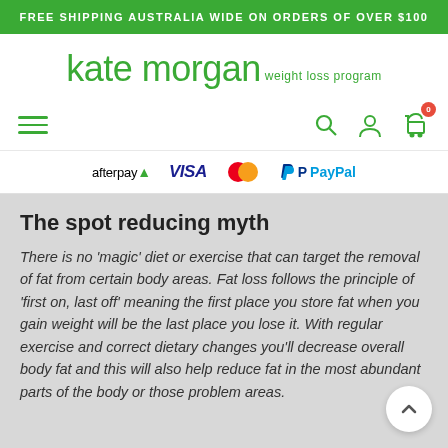FREE SHIPPING AUSTRALIA WIDE ON ORDERS OF OVER $100
[Figure (logo): kate morgan weight loss program logo in green]
[Figure (infographic): Navigation bar with hamburger menu, search icon, account icon, and shopping cart with badge showing 0]
[Figure (infographic): Payment method icons: afterpay, VISA, Mastercard, PayPal]
The spot reducing myth
There is no 'magic' diet or exercise that can target the removal of fat from certain body areas. Fat loss follows the principle of 'first on, last off' meaning the first place you store fat when you gain weight will be the last place you lose it. With regular exercise and correct dietary changes you'll decrease overall body fat and this will also help reduce fat in the most abundant parts of the body or those problem areas.